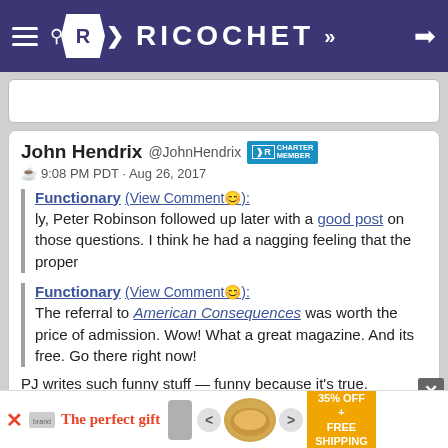RICOCHET
[Figure (screenshot): Empty white input or search box area]
John Hendrix @JohnHendrix [Charter Member badge] 9:08 PM PDT · Aug 26, 2017
Functionary (View Comment😊): ly, Peter Robinson followed up later with a good post on those questions. I think he had a nagging feeling that the proper
Functionary (View Comment😊): The referral to American Consequences was worth the price of admission. Wow! What a great magazine. And its free. Go there right now!
PJ writes such funny stuff — funny because it's true.
"As far as I'm concerned, what Apple, Google, and especially Facebook all are ann express, noise, and
[Figure (infographic): Advertisement bar: The perfect gift, 35% OFF + FREE SHIPPING, bowl image, navigation arrows]